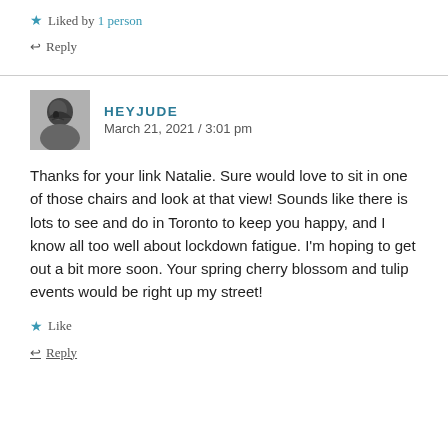★ Liked by 1 person
↩ Reply
HEYJUDE
March 21, 2021 / 3:01 pm
Thanks for your link Natalie. Sure would love to sit in one of those chairs and look at that view! Sounds like there is lots to see and do in Toronto to keep you happy, and I know all too well about lockdown fatigue. I'm hoping to get out a bit more soon. Your spring cherry blossom and tulip events would be right up my street!
★ Like
↩ Reply